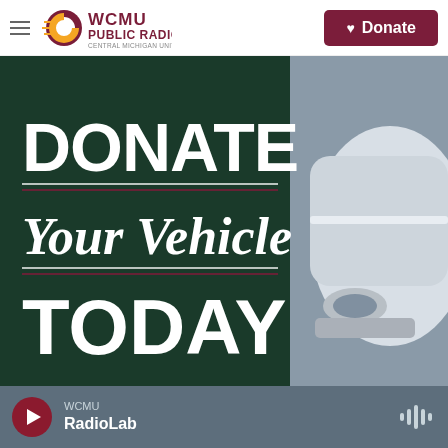WCMU Public Radio — Central Michigan University
[Figure (photo): Promotional banner showing 'DONATE Your Vehicle TODAY' text on a dark green sign with a white car (Toyota Corolla) visible in the background]
WCMU
RadioLab